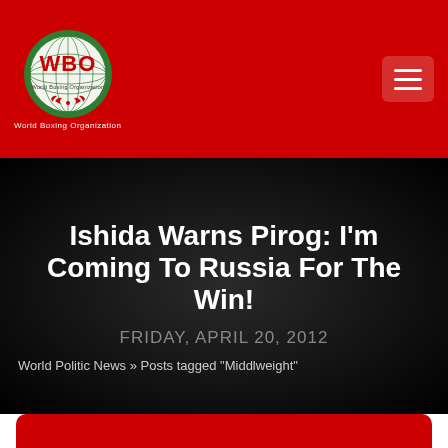WBO World Boxing Organization
Ishida Warns Pirog: I'm Coming To Russia For The Win!
FRIDAY, APRIL 20, 2012
World Politic News » Posts tagged "Middlweight"